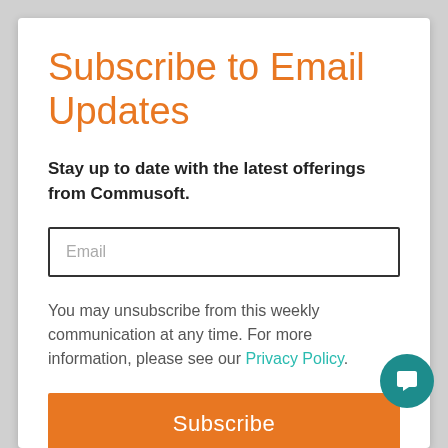Subscribe to Email Updates
Stay up to date with the latest offerings from Commusoft.
Email
You may unsubscribe from this weekly communication at any time. For more information, please see our Privacy Policy.
Subscribe